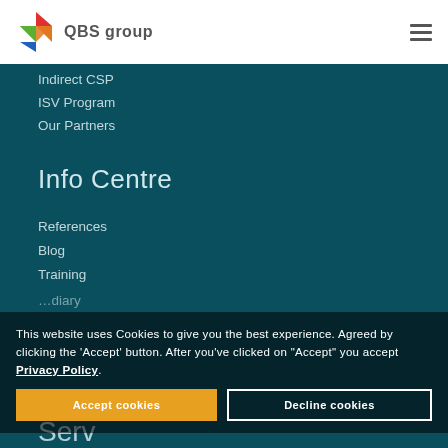[Figure (logo): QBS group logo with colorful diamond shape and 'QBS group' text]
Indirect CSP
ISV Program
Our Partners
Info Centre
References
Blog
Training
This website uses Cookies to give you the best experience. Agreed by clicking the 'Accept' button. After you've clicked on "Accept" you accept Privacy Policy.
Accept cookies
Decline cookies
Serv